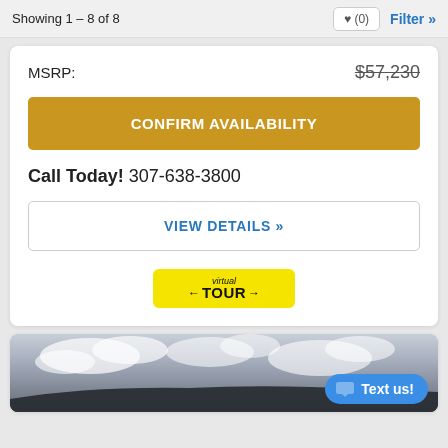Showing 1 - 8 of 8
MSRP: $57,230
CONFIRM AVAILABILITY
Call Today! 307-638-3800
VIEW DETAILS »
[Figure (logo): Virtual Tour badge - yellow rectangle with 'virtual TOUR' text and arrows]
[Figure (photo): Car photo showing roofline against cloudy sky, partially visible]
Text us!